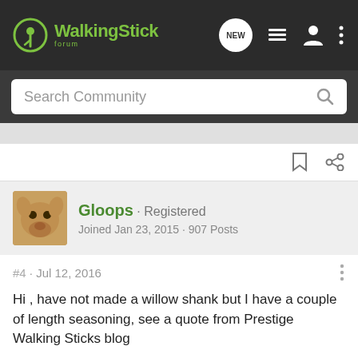WalkingStick forum
Search Community
Gloops · Registered
Joined Jan 23, 2015 · 907 Posts
#4 · Jul 12, 2016
Hi , have not made a willow shank but I have a couple of length seasoning, see a quote from Prestige Walking Sticks blog
"Willow walking sticks - willow is plentiful especially in wet ground. it produces straight shafts of goof length, but the bark and the wood are characterless and cut walking sticks are "whippy". In a world which seemed to contain an increasing number of disposable items, willow is the equivalent where